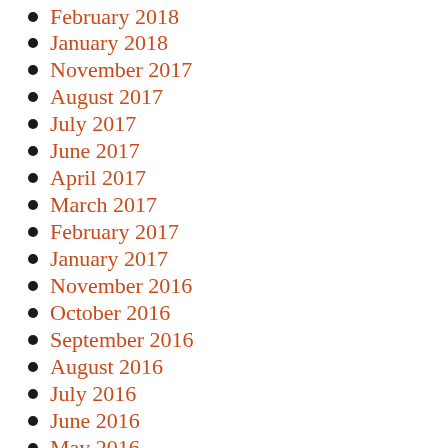February 2018
January 2018
November 2017
August 2017
July 2017
June 2017
April 2017
March 2017
February 2017
January 2017
November 2016
October 2016
September 2016
August 2016
July 2016
June 2016
May 2016